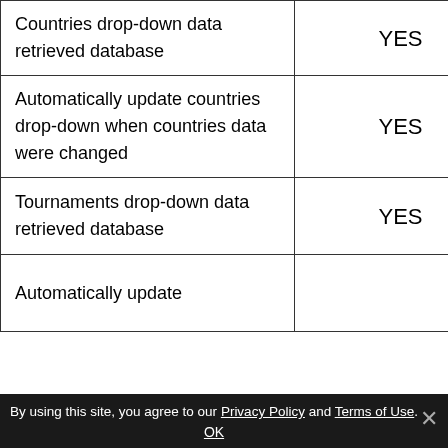| Feature | Status |
| --- | --- |
| Countries drop-down data retrieved database | YES |
| Automatically update countries drop-down when countries data were changed | YES |
| Tournaments drop-down data retrieved database | YES |
| Automatically update... |  |
By using this site, you agree to our Privacy Policy and Terms of Use. OK